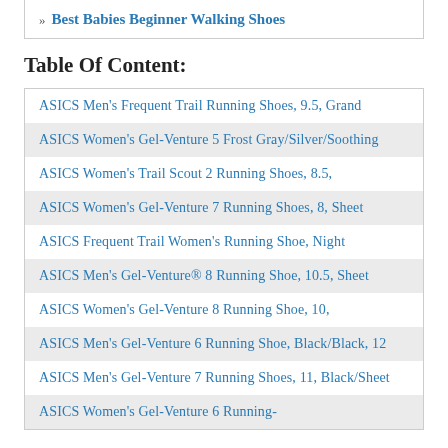» Best Babies Beginner Walking Shoes
Table Of Content:
ASICS Men's Frequent Trail Running Shoes, 9.5, Grand
ASICS Women's Gel-Venture 5 Frost Gray/Silver/Soothing
ASICS Women's Trail Scout 2 Running Shoes, 8.5,
ASICS Women's Gel-Venture 7 Running Shoes, 8, Sheet
ASICS Frequent Trail Women's Running Shoe, Night
ASICS Men's Gel-Venture® 8 Running Shoe, 10.5, Sheet
ASICS Women's Gel-Venture 8 Running Shoe, 10,
ASICS Men's Gel-Venture 6 Running Shoe, Black/Black, 12
ASICS Men's Gel-Venture 7 Running Shoes, 11, Black/Sheet
ASICS Women's Gel-Venture 6 Running-